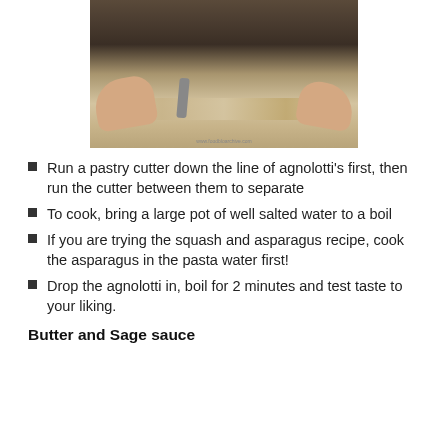[Figure (photo): Hands using a pastry cutter to cut agnolotti pasta on a white surface]
Run a pastry cutter down the line of agnolotti's first, then run the cutter between them to separate
To cook, bring a large pot of well salted water to a boil
If you are trying the squash and asparagus recipe, cook the asparagus in the pasta water first!
Drop the agnolotti in, boil for 2 minutes and test taste to your liking.
Butter and Sage sauce